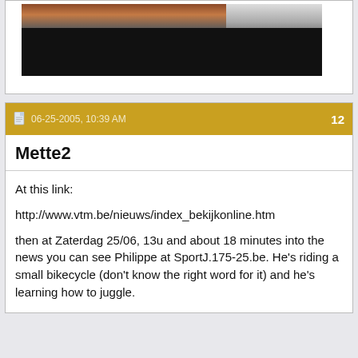[Figure (photo): Partial photo visible at top of page, showing people, cropped at top edge]
06-25-2005, 10:39 AM   12
Mette2
At this link:

http://www.vtm.be/nieuws/index_bekijkonline.htm

then at Zaterdag 25/06, 13u and about 18 minutes into the news you can see Philippe at SportJ.175-25.be. He's riding a small bikecycle (don't know the right word for it) and he's learning how to juggle.